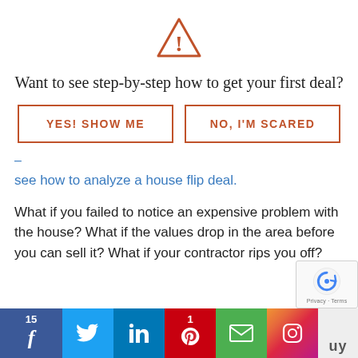[Figure (illustration): Orange triangle warning/alert icon with exclamation mark]
Want to see step-by-step how to get your first deal?
[Figure (other): Two buttons: YES! SHOW ME and NO, I'M SCARED, both with orange border and text]
see how to analyze a house flip deal.
What if you failed to notice an expensive problem with the house? What if the values drop in the area before you can sell it? What if your contractor rips you off?
[Figure (infographic): Social sharing bar at bottom: Facebook (15), Twitter, LinkedIn, Pinterest (1), Email, Instagram, and more button]